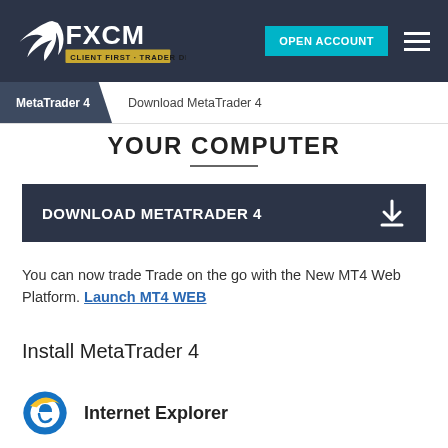[Figure (logo): FXCM logo with tagline CLIENT FIRST · TRADER DRIVEN in white and gold on dark navy background, with OPEN ACCOUNT teal button and hamburger menu icon]
MetaTrader 4  /  Download MetaTrader 4
YOUR COMPUTER
DOWNLOAD METATRADER 4
You can now trade Trade on the go with the New MT4 Web Platform. Launch MT4 WEB
Install MetaTrader 4
Internet Explorer